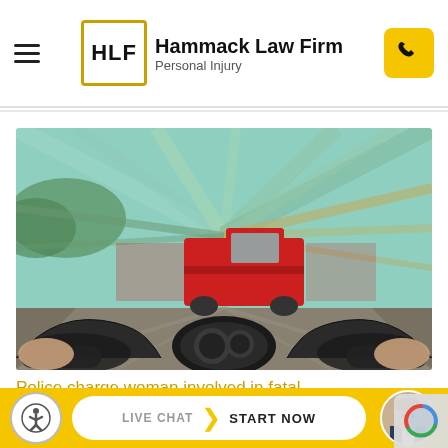Hammack Law Firm - Personal Injury
[Figure (photo): First-person perspective from motorcycle handlebars approaching a red pickup truck with motion blur, suggesting high speed; busy street scene]
Police charge woman involved in fatal motorcycle accident